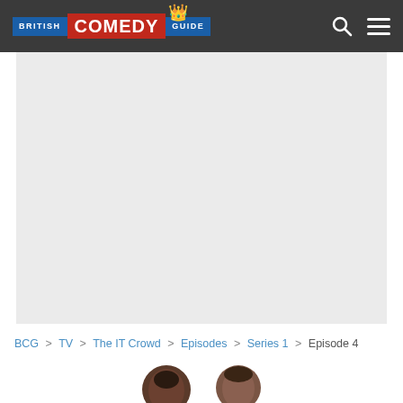British Comedy Guide
[Figure (other): Advertisement or image placeholder — light grey rectangle]
BCG > TV > The IT Crowd > Episodes > Series 1 > Episode 4
[Figure (photo): Bottom of page showing partial heads/portraits of cast members]